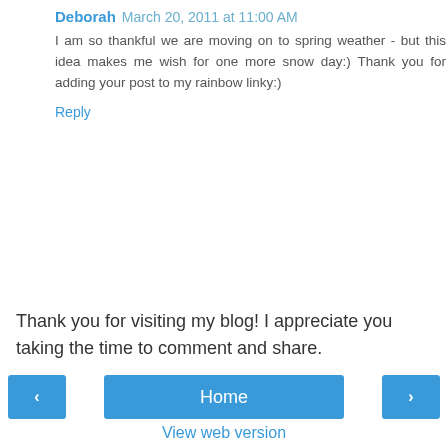Deborah  March 20, 2011 at 11:00 AM
I am so thankful we are moving on to spring weather - but this idea makes me wish for one more snow day:) Thank you for adding your post to my rainbow linky:)
Reply
Thank you for visiting my blog! I appreciate you taking the time to comment and share.
‹  Home  ›
View web version
Powered by Blogger.